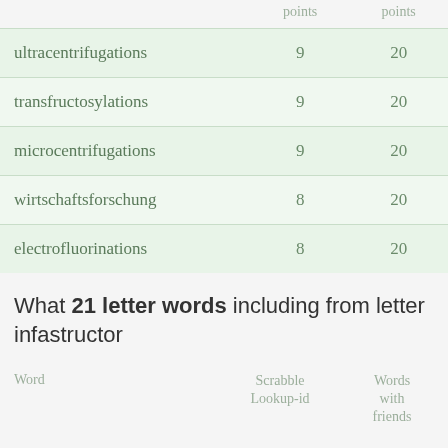| Word | Scrabble Lookup-id points | Words with friends points |
| --- | --- | --- |
| ultracentrifugations | 9 | 20 |
| transfructosylations | 9 | 20 |
| microcentrifugations | 9 | 20 |
| wirtschaftsforschung | 8 | 20 |
| electrofluorinations | 8 | 20 |
What 21 letter words including from letter infastructor
| Word | Scrabble Lookup-id | Words with friends |
| --- | --- | --- |